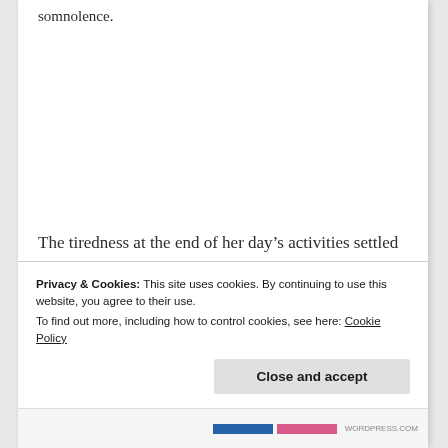somnolence.
The tiredness at the end of her day's activities settled on her. She was grateful for Manorama's presence, the last couple of days when the travel
Privacy & Cookies: This site uses cookies. By continuing to use this website, you agree to their use.
To find out more, including how to control cookies, see here: Cookie Policy
Close and accept